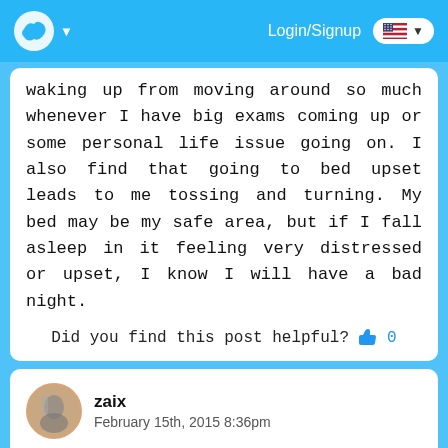Login/Signup
waking up from moving around so much whenever I have big exams coming up or some personal life issue going on. I also find that going to bed upset leads to me tossing and turning. My bed may be my safe area, but if I fall asleep in it feeling very distressed or upset, I know I will have a bad night.
Did you find this post helpful?  👍 0
zaix
February 15th, 2015 8:36pm
Most people do, if you have a lot on your mind when you're trying to dose off then you're